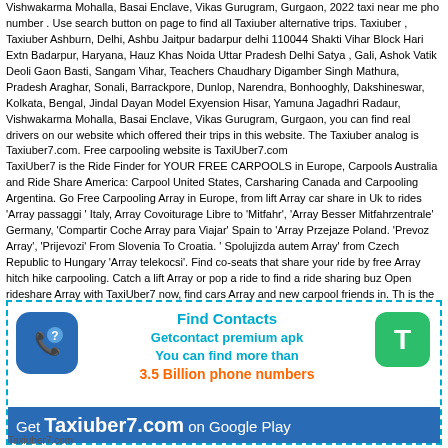Vishwakarma Mohalla, Basai Enclave, Vikas Gurugram, Gurgaon, 2022 taxi near me phone number . Use search button on page to find all Taxiuber alternative trips. Taxiuber , Taxiuber Ashburn, Delhi, Ashbu Jaitpur badarpur delhi 110044 Shakti Vihar Block Hari Extn Badarpur, Haryana, Hauz Khas Noida Uttar Pradesh Delhi Satya , Gali, Ashok Vatika Deoli Gaon Basti, Sangam Vihar, Teachers Chaudhary Digamber Singh Mathura, Pradesh Araghar, Sonali, Barrackpore, Dunlop, Narendra, Bonhooghly, Dakshineswar, Kolkata, Bengal, Jindal Dayan Model Exyension Hisar, Yamuna Jagadhri Radaur, Vishwakarma Mohalla, Basai Enclave, Vikas Gurugram, Gurgaon, you can find real drivers on our website which offered their trips in this website. The Taxiuber analog is Taxiuber7.com. Free carpooling website is TaxiUber7.com
TaxiUber7 is the Ride Finder for YOUR FREE CARPOOLS in Europe, Carpools Australia and Ride Share America: Carpool United States, Carsharing Canada and Carpooling Argentina. Go Free Carpooling Array in Europe, from lift Array car share in Uk to rides 'Array passaggi ' Italy, Array Covoiturage Libre to 'Mitfahr', 'Array Besser Mitfahrzentrale' Germany, 'Compartir Coche Array para Viajar' Spain to 'Array Przejazdy' Poland. 'Prevoz Array', 'Prijevozi' From Slovenia To Croatia. ' Spolujizda autem Array' from Czech Republic to Hungary 'Array telekocsi'. Find co-seats that share your ride by free Array hitch hike carpooling. Catch a lift Array or pop a ride to find a ride sharing buzz. Open rideshare Array with TaxiUber7 now, find cars Array and new carpool friends in. This is the Zero Commission Carpooling Alternative to Array Taxiuber. Ride Share Redlands compartir coche Hemet Carpooling Mitfahrgelegenheit Redlands Array Taxiuber Hemet From To Redlands. share the car Redlands share car Hemet Free Site with Travel Information Service. Попутчики из Ashburn в United States . covoiturage Ashburn covoiturage United States Taxiuber connexion Taxiuber United States Taxiuber covoiturage réservation mitfahrgelegenheit Taxiuber United States fahrgemeinschaft Ashburn amovengo Taxiuber украина.
[Figure (infographic): Advertisement box with dashed cyan border. Contains a blue phone/contact icon on left, a green 'T' icon on right, centered text 'Find Contacts / Getcontact premium apk / You can find more than / 3.5 Billion phone numbers' in cyan and orange, and a blue banner at bottom reading 'Get Taxiuber7.com on Google Play'. Footer text: Taxiuber7.com]